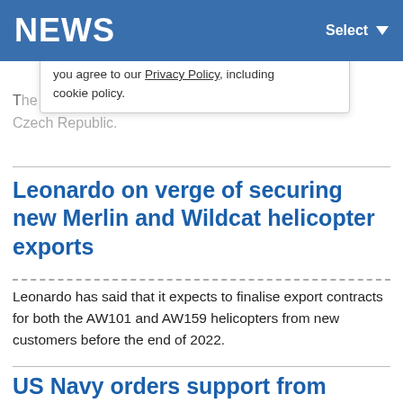NEWS   Select
you agree to our Privacy Policy, including cookie policy.
The utility and attack helicopters to the Czech Republic.
Leonardo on verge of securing new Merlin and Wildcat helicopter exports
Leonardo has said that it expects to finalise export contracts for both the AW101 and AW159 helicopters from new customers before the end of 2022.
US Navy orders support from Lockheed Martin for MH-60S Seahawk helicopter Block 3